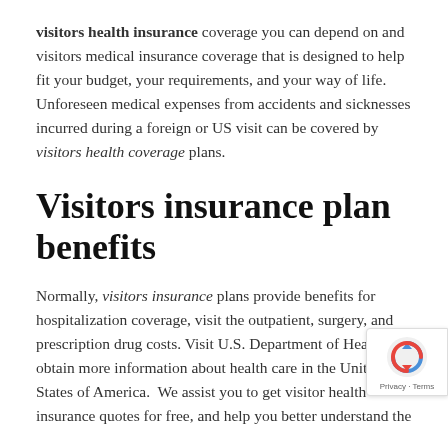visitors health insurance coverage you can depend on and visitors medical insurance coverage that is designed to help fit your budget, your requirements, and your way of life. Unforeseen medical expenses from accidents and sicknesses incurred during a foreign or US visit can be covered by visitors health coverage plans.
Visitors insurance plan benefits
Normally, visitors insurance plans provide benefits for hospitalization coverage, visit the outpatient, surgery, and prescription drug costs. Visit U.S. Department of Health to obtain more information about health care in the United States of America. We assist you to get visitor health insurance quotes for free, and help you better understand the